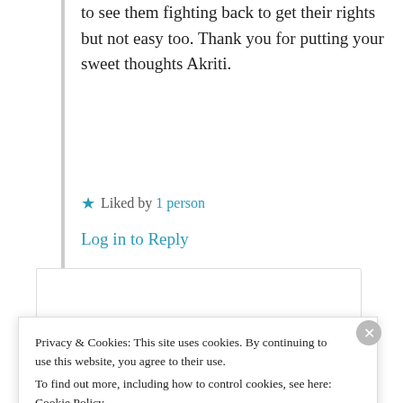to see them fighting back to get their rights but not easy too. Thank you for putting your sweet thoughts Akriti.
★ Liked by 1 person
Log in to Reply
Advertisements
[Figure (other): Advertisement banner: dark navy background with text 'Opinions. We all have them!' and WordPress logo with a 'Blog Now' button on the right.]
REPORT THIS AD
Privacy & Cookies: This site uses cookies. By continuing to use this website, you agree to their use.
To find out more, including how to control cookies, see here: Cookie Policy
Close and accept